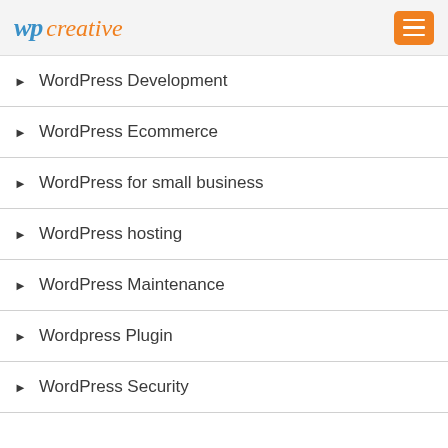wp creative
WordPress Development
WordPress Ecommerce
WordPress for small business
WordPress hosting
WordPress Maintenance
Wordpress Plugin
WordPress Security